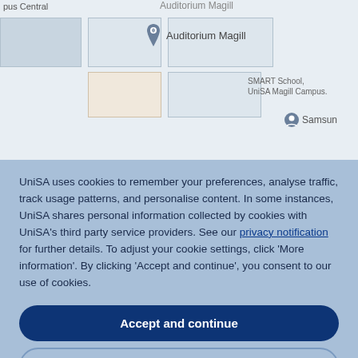[Figure (screenshot): Google Maps view showing Auditorium Magill location pin, with map labels for campus central, library, SMART School UniSA Magill Campus, and Samsung logo visible]
UniSA uses cookies to remember your preferences, analyse traffic, track usage patterns, and personalise content. In some instances, UniSA shares personal information collected by cookies with UniSA's third party service providers. See our privacy notification for further details. To adjust your cookie settings, click 'More information'. By clicking 'Accept and continue', you consent to our use of cookies.
Accept and continue
More information